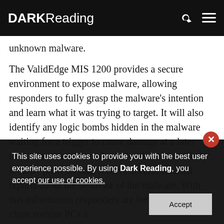DARK Reading
unknown malware.
The ValidEdge MIS 1200 provides a secure environment to expose malware, allowing responders to fully grasp the malware's intention and learn what it was trying to target. It will also identify any logic bombs hidden in the malware waiting for a trigger to cause damage at a later time. Once the new malware has been identified, security professionals receive several detailed reports about the behavior of the malware. With this information responders are better equipped to clean zombie PCs a
This site uses cookies to provide you with the best user experience possible. By using Dark Reading, you accept our use of cookies.